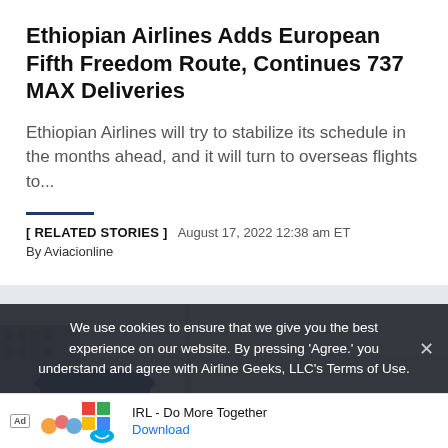Ethiopian Airlines Adds European Fifth Freedom Route, Continues 737 MAX Deliveries
Ethiopian Airlines will try to stabilize its schedule in the months ahead, and it will turn to overseas flights to...
[ RELATED STORIES ]  August 17, 2022 12:38 am ET
By Aviacionline
[Figure (photo): Partial photo of an airplane on the tarmac with a building in the background, cropped/partially visible]
We use cookies to ensure that we give you the best experience on our website. By pressing 'Agree.' you understand and agree with Airline Geeks, LLC's Terms of Use.
Ad  IRL - Do More Together  Download